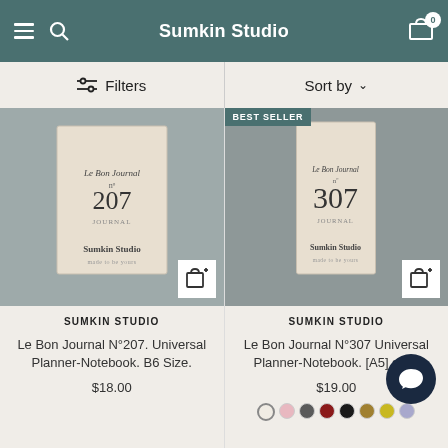Sumkin Studio
Filters   Sort by
[Figure (screenshot): Product image of Le Bon Journal N°207 notebook, cream/beige cover]
[Figure (screenshot): Product image of Le Bon Journal N°307 notebook, cream/beige cover, with BEST SELLER badge]
SUMKIN STUDIO
Le Bon Journal N°207. Universal Planner-Notebook. B6 Size.
$18.00
SUMKIN STUDIO
Le Bon Journal N°307 Universal Planner-Notebook. [A5] size.
$19.00